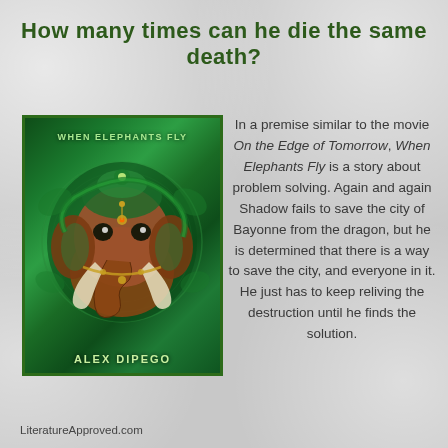How many times can he die the same death?
[Figure (illustration): Book cover for 'When Elephants Fly' by Alex DiPego, featuring a stylized green Ganesha elephant deity on a dark green ornate background]
In a premise similar to the movie On the Edge of Tomorrow, When Elephants Fly is a story about problem solving. Again and again Shadow fails to save the city of Bayonne from the dragon, but he is determined that there is a way to save the city, and everyone in it. He just has to keep reliving the destruction until he finds the solution.
LiteratureApproved.com